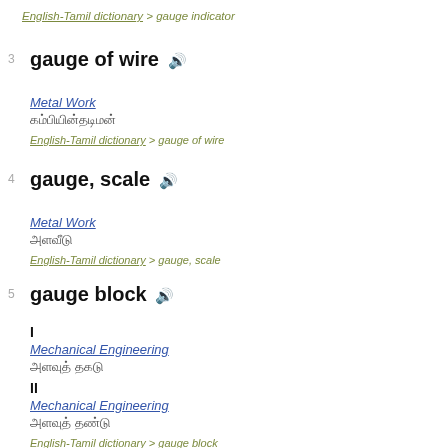English-Tamil dictionary > gauge indicator
gauge of wire
Metal Work
கம்பியின்தடிமன்
English-Tamil dictionary > gauge of wire
gauge, scale
Metal Work
அளவீடு
English-Tamil dictionary > gauge, scale
gauge block
I
Mechanical Engineering
அளவுத் தகடு
II
Mechanical Engineering
அளவுத் தண்டு
English-Tamil dictionary > gauge block